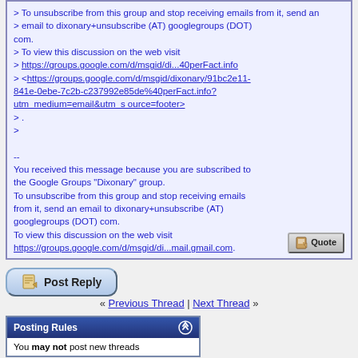> To unsubscribe from this group and stop receiving emails from it, send an
> email to dixonary+unsubscribe (AT) googlegroups (DOT) com.
> To view this discussion on the web visit
> https://groups.google.com/d/msgid/di...40perFact.info
> <https://groups.google.com/d/msgid/dixonary/91bc2e11-841e-0ebe-7c2b-c237992e85de%40perFact.info?utm_medium=email&utm_s ource=footer>
> .
>

--
You received this message because you are subscribed to the Google Groups "Dixonary" group.
To unsubscribe from this group and stop receiving emails from it, send an email to dixonary+unsubscribe (AT) googlegroups (DOT) com.
To view this discussion on the web visit
https://groups.google.com/d/msgid/di...mail.gmail.com.
[Figure (screenshot): Quote button with document icon]
[Figure (screenshot): Post Reply button with document/pen icon]
« Previous Thread | Next Thread »
Posting Rules
You may not post new threads